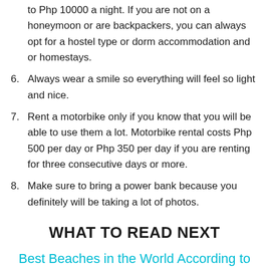to Php 10000 a night. If you are not on a honeymoon or are backpackers, you can always opt for a hostel type or dorm accommodation and or homestays.
6. Always wear a smile so everything will feel so light and nice.
7. Rent a motorbike only if you know that you will be able to use them a lot. Motorbike rental costs Php 500 per day or Php 350 per day if you are renting for three consecutive days or more.
8. Make sure to bring a power bank because you definitely will be taking a lot of photos.
WHAT TO READ NEXT
Best Beaches in the World According to Travel Bloggers | Page 5